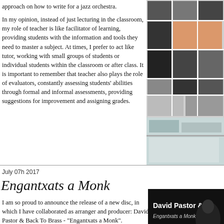approach on how to write for a jazz orchestra.
In my opinion, instead of just lecturing in the classroom, my role of teacher is like facilitator of learning, providing students with the information and tools they need to master a subject. At times, I prefer to act like tutor, working with small groups of students or individual students within the classroom or after class. It is important to remember that teacher also plays the role of evaluators, constantly assessing students' abilities through formal and informal assessments, providing suggestions for improvement and assigning grades.
[Figure (photo): Wall display of black and white and color photographs in a grid layout, showing various jazz-related or artistic scenes]
July 07h 2017
Engantxats a Monk
I am so proud to announce the release of a new disc, in which I have collaborated as arranger and producer: David Pastor & Back To Brass - "Engantxats a Monk".
The CD, published by Omix Records of Warner Bros Music
[Figure (photo): Album cover showing 'David Pastor & Back To Brass - Engantxats a Monk' text on dark background]